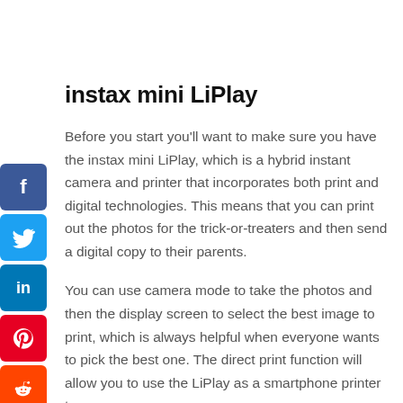instax mini LiPlay
Before you start you'll want to make sure you have the instax mini LiPlay, which is a hybrid instant camera and printer that incorporates both print and digital technologies. This means that you can print out the photos for the trick-or-treaters and then send a digital copy to their parents.
You can use camera mode to take the photos and then the display screen to select the best image to print, which is always helpful when everyone wants to pick the best one. The direct print function will allow you to use the LiPlay as a smartphone printer too so